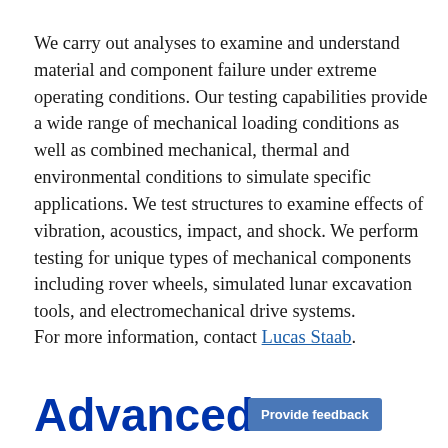We carry out analyses to examine and understand material and component failure under extreme operating conditions.  Our testing capabilities provide a wide range of mechanical loading conditions as well as combined mechanical, thermal and environmental conditions to simulate specific applications. We test structures to examine effects of vibration, acoustics, impact, and shock.  We perform testing for unique types of mechanical components including rover wheels, simulated lunar excavation tools, and electromechanical drive systems.
For more information, contact Lucas Staab.
Advanced Mechanisms and Automation